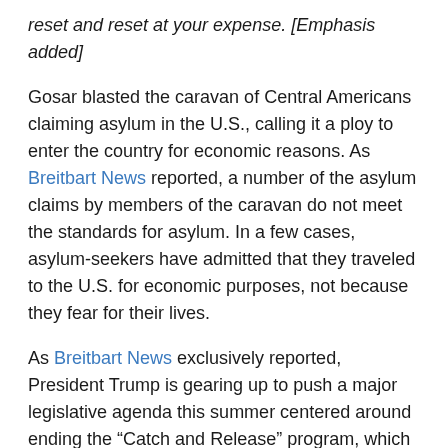reset and reset at your expense. [Emphasis added]
Gosar blasted the caravan of Central Americans claiming asylum in the U.S., calling it a ploy to enter the country for economic reasons. As Breitbart News reported, a number of the asylum claims by members of the caravan do not meet the standards for asylum. In a few cases, asylum-seekers have admitted that they traveled to the U.S. for economic purposes, not because they fear for their lives.
As Breitbart News exclusively reported, President Trump is gearing up to push a major legislative agenda this summer centered around ending the “Catch and Release” program, which allows foreign nationals to be released into the U.S. while they await immigration and asylum hearings through a number of legal loopholes and weak asylum laws.